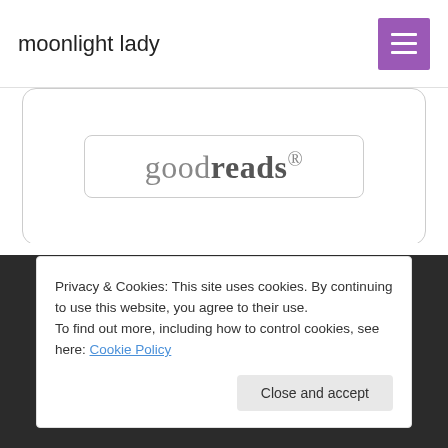moonlight lady
[Figure (screenshot): Goodreads widget/badge with rounded rectangle border showing the Goodreads logo text]
[Figure (infographic): Four social media icon circles: Facebook, Twitter, Instagram, and another icon on dark background footer]
Privacy & Cookies: This site uses cookies. By continuing to use this website, you agree to their use.
To find out more, including how to control cookies, see here: Cookie Policy
Close and accept